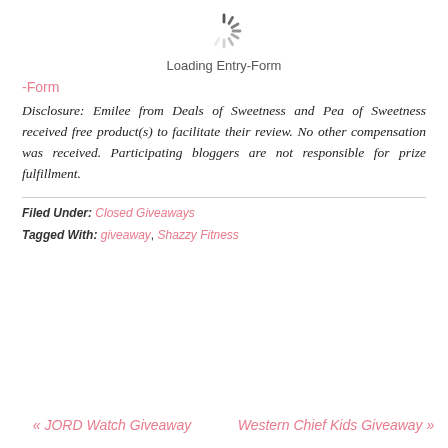[Figure (other): Spinning loading indicator (radial spinner graphic)]
Loading Entry-Form
-Form
Disclosure: Emilee from Deals of Sweetness and Pea of Sweetness received free product(s) to facilitate their review. No other compensation was received. Participating bloggers are not responsible for prize fulfillment.
Filed Under: Closed Giveaways
Tagged With: giveaway, Shazzy Fitness
« JORD Watch Giveaway
Western Chief Kids Giveaway »